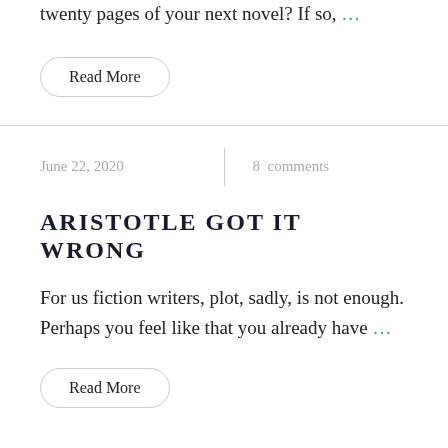twenty pages of your next novel? If so, …
Read More
June 22, 2020
8  comments
ARISTOTLE GOT IT WRONG
For us fiction writers, plot, sadly, is not enough. Perhaps you feel like that you already have …
Read More